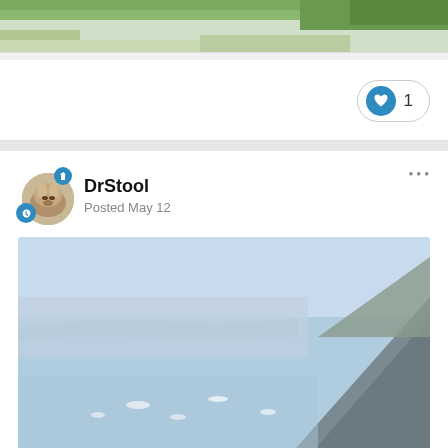[Figure (photo): Top of previous post showing green trees/vegetation landscape photo, partially cropped at top]
[Figure (other): Like button with heart icon showing count of 1]
[Figure (photo): User avatar showing a capybara or similar animal photo with blue badge icons]
DrStool
Posted May 12
[Figure (photo): Aerial coastal photo showing a blue bay with boats, rocky mountainside on right, and town in background]